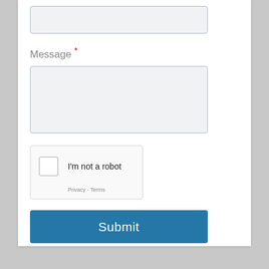[Figure (screenshot): A web form input field (text box) with light gray background and border, empty.]
Message *
[Figure (screenshot): A web form textarea (multi-line text box) with light gray background and border, empty.]
[Figure (screenshot): reCAPTCHA widget with checkbox labeled I'm not a robot and Privacy - Terms footer.]
Submit